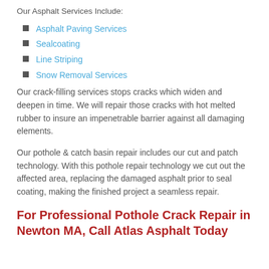Our Asphalt Services Include:
Asphalt Paving Services
Sealcoating
Line Striping
Snow Removal Services
Our crack-filling services stops cracks which widen and deepen in time. We will repair those cracks with hot melted rubber to insure an impenetrable barrier against all damaging elements.
Our pothole & catch basin repair includes our cut and patch technology. With this pothole repair technology we cut out the affected area, replacing the damaged asphalt prior to seal coating, making the finished project a seamless repair.
For Professional Pothole Crack Repair in Newton MA, Call Atlas Asphalt Today